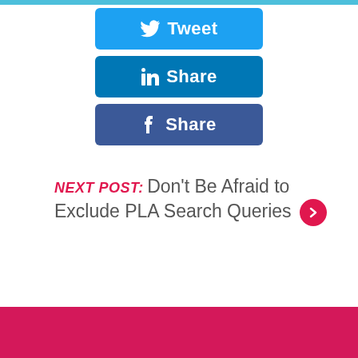[Figure (screenshot): Twitter Tweet button - blue rounded rectangle with Twitter bird icon and 'Tweet' text]
[Figure (screenshot): LinkedIn Share button - blue rounded rectangle with 'in' icon and 'Share' text]
[Figure (screenshot): Facebook Share button - dark blue rounded rectangle with 'f' icon and 'Share' text]
Next Post: Don't Be Afraid to Exclude PLA Search Queries